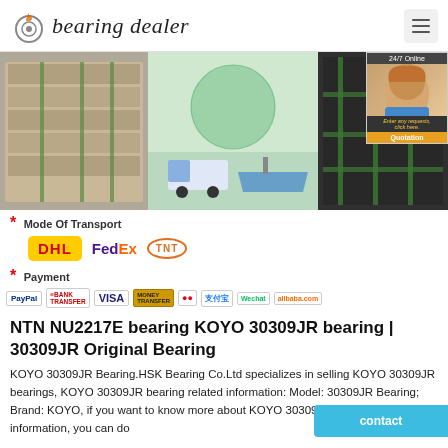bearing dealer
[Figure (photo): Collage of bearing packages on pallets, a truck/ship transport illustration, and stacked bearing boxes with label ST NU222]
Mode Of Transport
[Figure (logo): DHL, FedEx, TNT carrier logos]
Payment
[Figure (logo): Payment icons: PayPal, Bank Transfer, VISA, Money Transfer, Mastercard, Alipay, WeChat, Alibaba]
NTN NU2217E bearing KOYO 30309JR bearing | 30309JR Original Bearing
KOYO 30309JR Bearing.HSK Bearing Co.Ltd specializes in selling KOYO 30309JR bearings, KOYO 30309JR bearing related information: Model: 30309JR Bearing; Brand: KOYO, if you want to know more about KOYO 30309JR Bearing for information, you can do